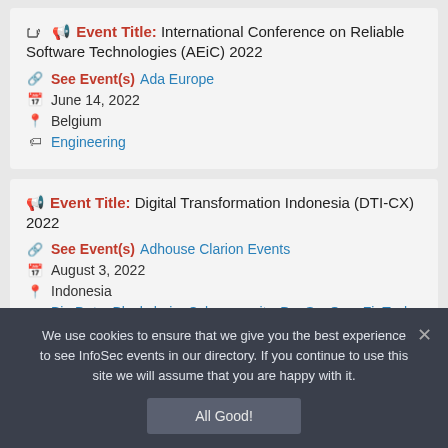Event Title: International Conference on Reliable Software Technologies (AEiC) 2022 | See Event(s) Ada Europe | June 14, 2022 | Belgium | Engineering
Event Title: Digital Transformation Indonesia (DTI-CX) 2022 | See Event(s) Adhouse Clarion Events | August 3, 2022 | Indonesia | Big Data, Blockchain, Cybersecurity, DevSecOps, FinTech...
We use cookies to ensure that we give you the best experience to see InfoSec events in our directory. If you continue to use this site we will assume that you are happy with it.